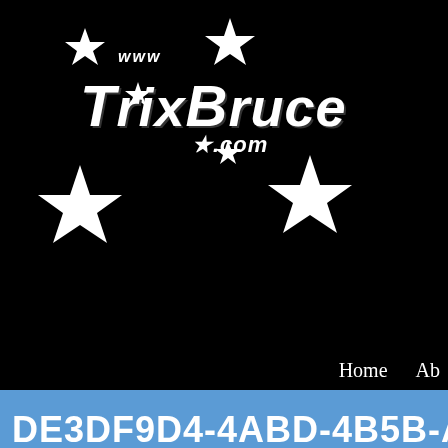[Figure (logo): TrixBruce.com logo on black background with stars]
Home  Ab
DE3DF9D4-4ABD-4B5B-A5E4-...
» DE3DF9D4-4ABD-4B5B-A5E4-C9A...
[Figure (photo): Partial photo of a person with blonde hair]